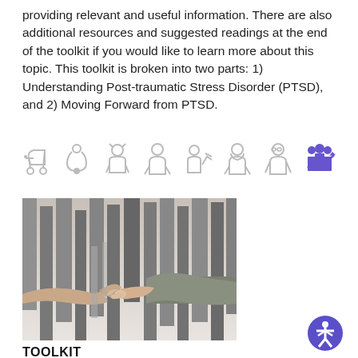providing relevant and useful information. There are also additional resources and suggested readings at the end of the toolkit if you would like to learn more about this topic. This toolkit is broken into two parts: 1) Understanding Post-traumatic Stress Disorder (PTSD), and 2) Moving Forward from PTSD.
[Figure (infographic): Row of 8 life-stage and health icons: stroller, stethoscope, girl, person, person with arrow, bearded man, elderly person with glasses, group of people with growth chart (highlighted in purple)]
[Figure (photo): Two hands reaching toward each other in front of tall concrete slabs (memorial), black and white/muted tones]
TOOLKIT
[Figure (logo): Circular accessibility icon — person with arms and legs spread inside a purple circle]